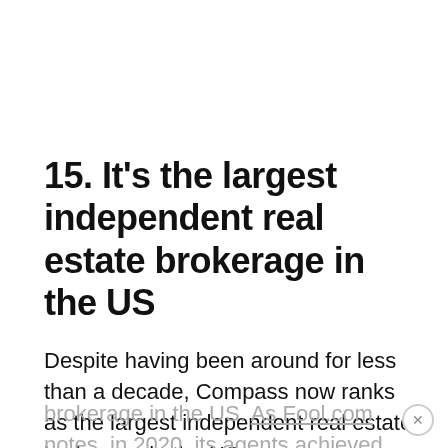15. It's the largest independent real estate brokerage in the US
Despite having been around for less than a decade, Compass now ranks as the largest independent real estate brokerage in the US. As Fool.com notes, in 2020, its agents achieved over $300